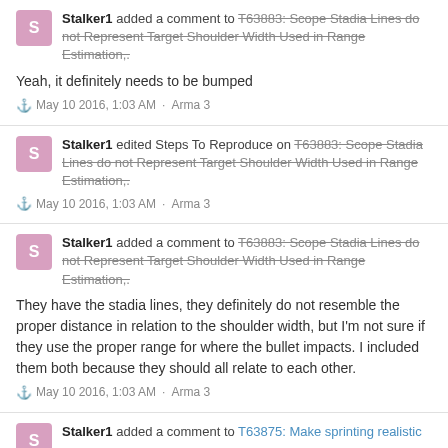Stalker1 added a comment to T63883: Scope Stadia Lines do not Represent Target Shoulder Width Used in Range Estimation,.
Yeah, it definitely needs to be bumped
May 10 2016, 1:03 AM · Arma 3
Stalker1 edited Steps To Reproduce on T63883: Scope Stadia Lines do not Represent Target Shoulder Width Used in Range Estimation,.
May 10 2016, 1:03 AM · Arma 3
Stalker1 added a comment to T63883: Scope Stadia Lines do not Represent Target Shoulder Width Used in Range Estimation,.
They have the stadia lines, they definitely do not resemble the proper distance in relation to the shoulder width, but I'm not sure if they use the proper range for where the bullet impacts. I included them both because they should all relate to each other.
May 10 2016, 1:03 AM · Arma 3
Stalker1 added a comment to T63875: Make sprinting realistic